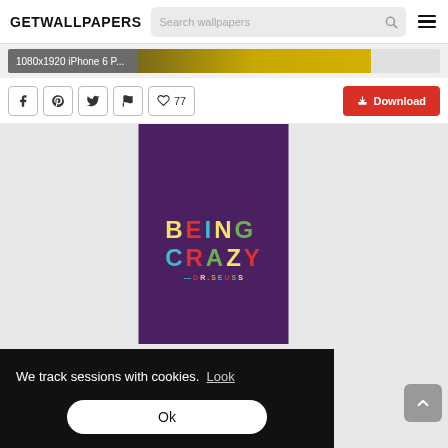GETWALLPAPERS
1080x1920 iPhone 6 P...
77
Download
[Figure (screenshot): Wallpaper preview showing colorful text BEING CRAZY on a dark purple background]
We track sessions with cookies.  Look
Ok